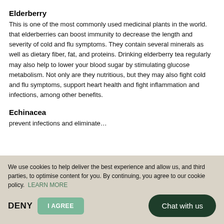Elderberry
This is one of the most commonly used medicinal plants in the world. that elderberries can boost immunity to decrease the length and severity of cold and flu symptoms. They contain several minerals as well as dietary fiber, fat, and proteins. Drinking elderberry tea regularly may also help to lower your blood sugar by stimulating glucose metabolism. Not only are they nutritious, but they may also fight cold and flu symptoms, support heart health and fight inflammation and infections, among other benefits.
Echinacea
prevent infections and eliminate…
We use cookies to help deliver the best experience and allow us, and third parties, to optimise content for you. By continuing, you agree to our cookie policy. LEARN MORE